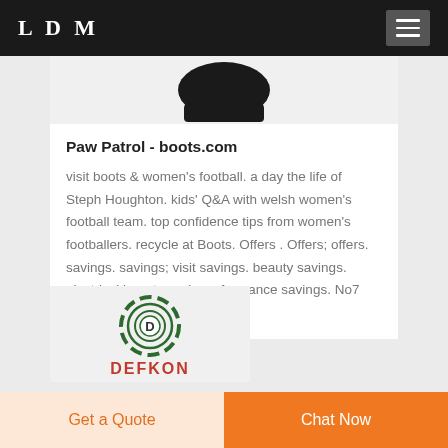LDM
[Figure (photo): Product image showing a dark round/cap-shaped product partially visible at top of card]
Paw Patrol - boots.com
visit boots & women's football. a day the life of Steph Houghton. kids' Q&A with welsh women's football team. top confidence tips from women's footballers. recycle at Boots. Offers . Offers; offers. savings. savings; visit savings. beauty savings. electrical beauty savings. fragrance savings. No7 savings.
[Figure (logo): DEFKON logo: circular target/ring icon with D in center, and DEFKON text in red below]
Get a Quote
Chat Now